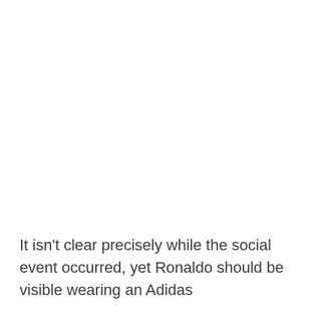It isn't clear precisely while the social event occurred, yet Ronaldo should be visible wearing an Adidas